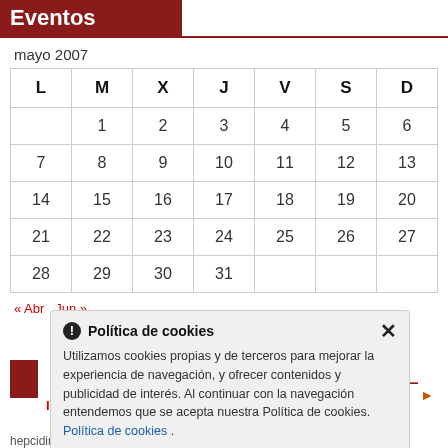Eventos
mayo 2007
| L | M | X | J | V | S | D |
| --- | --- | --- | --- | --- | --- | --- |
|  | 1 | 2 | 3 | 4 | 5 | 6 |
| 7 | 8 | 9 | 10 | 11 | 12 | 13 |
| 14 | 15 | 16 | 17 | 18 | 19 | 20 |
| 21 | 22 | 23 | 24 | 25 | 26 | 27 |
| 28 | 29 | 30 | 31 |  |  |  |
« Abr   Jun »
Política de cookies
Utilizamos cookies propias y de terceros para mejorar la experiencia de navegación, y ofrecer contenidos y publicidad de interés. Al continuar con la navegación entendemos que se acepta nuestra Política de cookies. Política de cookies .
Im
hepcidin quantification; on outcomes alter a prolonged ICU stay